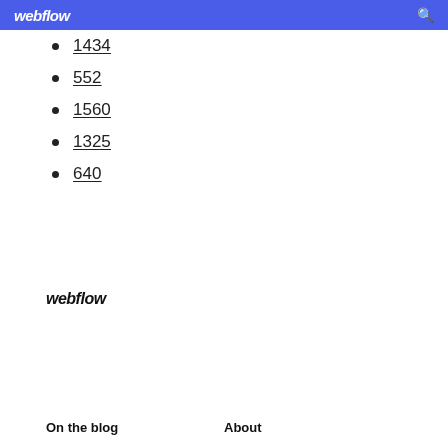webflow
1434
552
1560
1325
640
webflow
On the blog    About